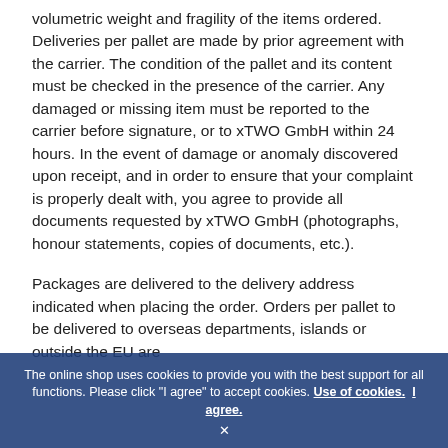volumetric weight and fragility of the items ordered. Deliveries per pallet are made by prior agreement with the carrier. The condition of the pallet and its content must be checked in the presence of the carrier. Any damaged or missing item must be reported to the carrier before signature, or to xTWO GmbH within 24 hours. In the event of damage or anomaly discovered upon receipt, and in order to ensure that your complaint is properly dealt with, you agree to provide all documents requested by xTWO GmbH (photographs, honour statements, copies of documents, etc.).
Packages are delivered to the delivery address indicated when placing the order. Orders per pallet to be delivered to overseas departments, islands or outside the EU are
The online shop uses cookies to provide you with the best support for all functions. Please click "I agree" to accept cookies. Use of cookies. I agree.